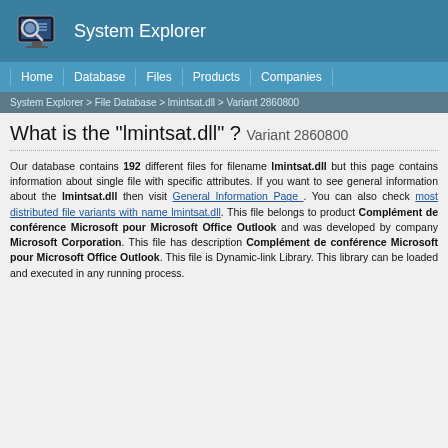System Explorer
Home | Database | Files | Products | Companies
System Explorer > File Database > lmintsat.dll > Variant 2860800
What is the "lmintsat.dll" ? Variant 2860800
Our database contains 192 different files for filename lmintsat.dll but this page contains information about single file with specific attributes. If you want to see general information about the lmintsat.dll then visit General Information Page . You can also check most distributed file variants with name lmintsat.dll. This file belongs to product Complément de conférence Microsoft pour Microsoft Office Outlook and was developed by company Microsoft Corporation. This file has description Complément de conférence Microsoft pour Microsoft Office Outlook. This file is Dynamic-link Library. This library can be loaded and executed in any running process.